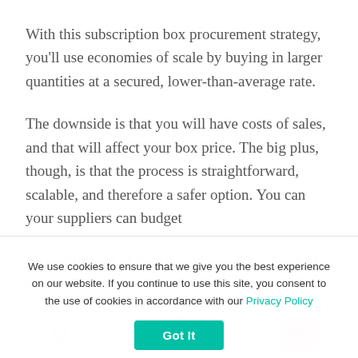With this subscription box procurement strategy, you'll use economies of scale by buying in larger quantities at a secured, lower-than-average rate.
The downside is that you will have costs of sales, and that will affect your box price. The big plus, though, is that the process is straightforward, scalable, and therefore a safer option. You can your suppliers can budget
A combination of both subscription box product procurement methods will enable you to offset costs... Prepare Your Sales Pitch
We use cookies to ensure that we give you the best experience on our website. If you continue to use this site, you consent to the use of cookies in accordance with our Privacy Policy